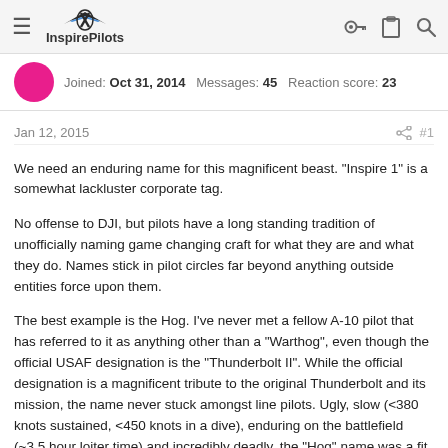InspirePilots
Joined: Oct 31, 2014  Messages: 45  Reaction score: 23
Jan 12, 2015  #1
We need an enduring name for this magnificent beast. "Inspire 1" is a somewhat lackluster corporate tag.

No offense to DJI, but pilots have a long standing tradition of unofficially naming game changing craft for what they are and what they do. Names stick in pilot circles far beyond anything outside entities force upon them.

The best example is the Hog. I've never met a fellow A-10 pilot that has referred to it as anything other than a "Warthog", even though the official USAF designation is the "Thunderbolt II". While the official designation is a magnificent tribute to the original Thunderbolt and its mission, the name never stuck amongst line pilots. Ugly, slow (<380 knots sustained, <450 knots in a dive), enduring on the battlefield (~3.5 hour loiter time) and incredibly deadly, the "Hog" name was a fit, and endures to this day.